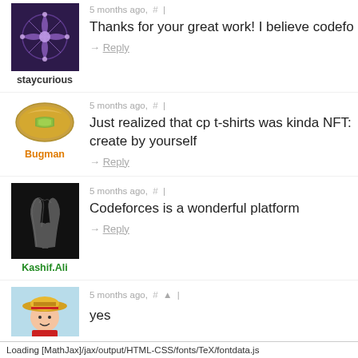[Figure (photo): Purple butterfly/snowflake avatar image for user staycurious]
staycurious
5 months ago, # |
Thanks for your great work! I believe codefo
→ Reply
[Figure (photo): Pistachio nut image for user Bugman]
Bugman
5 months ago, # |
Just realized that cp t-shirts was kinda NFT: create by yourself
→ Reply
[Figure (photo): Black and white photo of praying hands for user Kashif.Ali]
Kashif.Ali
5 months ago, # |
Codeforces is a wonderful platform
→ Reply
[Figure (photo): Anime character with straw hat (Luffy) partial image]
5 months ago,  # ▲ |
yes
Loading [MathJax]/jax/output/HTML-CSS/fonts/TeX/fontdata.js